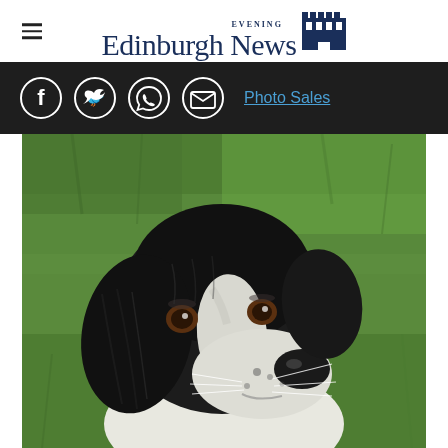Edinburgh Evening News
[Figure (logo): Edinburgh Evening News logo with castle icon]
[Figure (infographic): Dark bar with social media icons (Facebook, Twitter, WhatsApp, Email) and Photo Sales link]
[Figure (photo): Close-up photo of a black and white Springer Spaniel dog looking at camera, with green grass background]